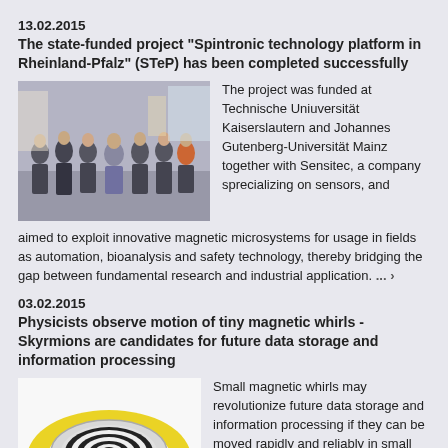13.02.2015
The state-funded project “Spintronic technology platform in Rheinland-Pfalz” (STeP) has been completed successfully
[Figure (photo): Group photo of researchers in suits standing together in a hallway with posters in the background]
The project was funded at Technische Uniuversität Kaiserslautern and Johannes Gutenberg-Universität Mainz together with Sensitec, a company sprecializing on sensors, and aimed to exploit innovative magnetic microsystems for usage in fields as automation, bioanalysis and safety technology, thereby bridging the gap between fundamental research and industrial application. ... ›
03.02.2015
Physicists observe motion of tiny magnetic whirls - Skyrmions are candidates for future data storage and information processing
[Figure (illustration): Illustration of a disk-shaped magnetic structure (Skyrmion) shown in 3D with a yellow ring and black-and-white striped center pattern]
Small magnetic whirls may revolutionize future data storage and information processing if they can be moved rapidly and reliably in small structures. A team of scientists of Johannes Gutenberg University Mainz (JGU) and TU Berlin, together with colleagues from the Netherlands and Switzerland, has now been able to investigate the dynamics of these whirls experimentally. The